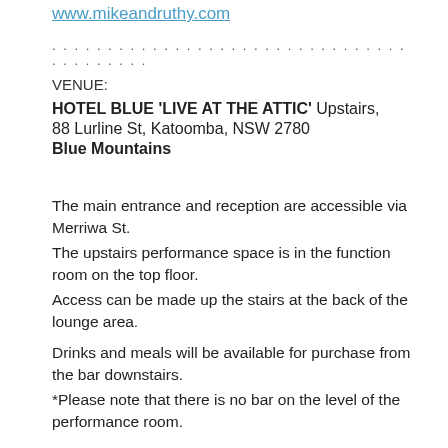www.mikeandruthy.com
. . . . . . . . . . . . . . . . . . . . . . . . . . . . . . . . . . . . . . . .
VENUE:
HOTEL BLUE 'LIVE AT THE ATTIC' Upstairs,
88 Lurline St, Katoomba, NSW 2780
Blue Mountains
The main entrance and reception are accessible via Merriwa St.
The upstairs performance space is in the function room on the top floor.
Access can be made up the stairs at the back of the lounge area.
Drinks and meals will be available for purchase from the bar downstairs.
*Please note that there is no bar on the level of the performance room.